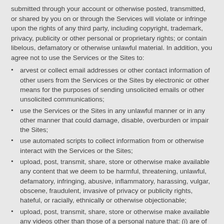submitted through your account or otherwise posted, transmitted, or shared by you on or through the Services will violate or infringe upon the rights of any third party, including copyright, trademark, privacy, publicity or other personal or proprietary rights; or contain libelous, defamatory or otherwise unlawful material. In addition, you agree not to use the Services or the Sites to:
arvest or collect email addresses or other contact information of other users from the Services or the Sites by electronic or other means for the purposes of sending unsolicited emails or other unsolicited communications;
use the Services or the Sites in any unlawful manner or in any other manner that could damage, disable, overburden or impair the Sites;
use automated scripts to collect information from or otherwise interact with the Services or the Sites;
upload, post, transmit, share, store or otherwise make available any content that we deem to be harmful, threatening, unlawful, defamatory, infringing, abusive, inflammatory, harassing, vulgar, obscene, fraudulent, invasive of privacy or publicity rights, hateful, or racially, ethnically or otherwise objectionable;
upload, post, transmit, share, store or otherwise make available any videos other than those of a personal nature that: (i) are of you or your friends, (ii) are taken by you or your friends, or (iii) are original art or animation created by you or your friends;
register for more than one user account, register for a user account on behalf of an individual other than yourself, or register for a user account on behalf of any group or entity;
impersonate any person or entity, or falsely state or otherwise misrepresent yourself, your age or your affiliation with any person or entity;